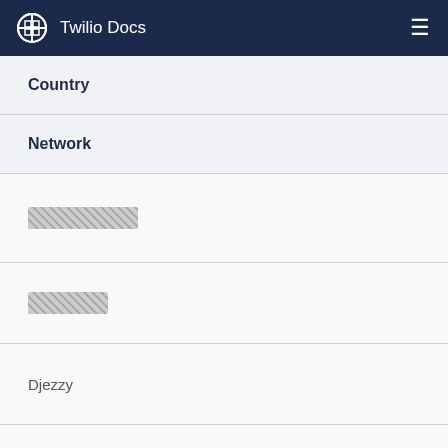Twilio Docs
| Country | Network |
| --- | --- |
| [redacted] |  |
| [redacted] |  |
| Djezzy |  |
| Backup |  |
| [redacted] |  |